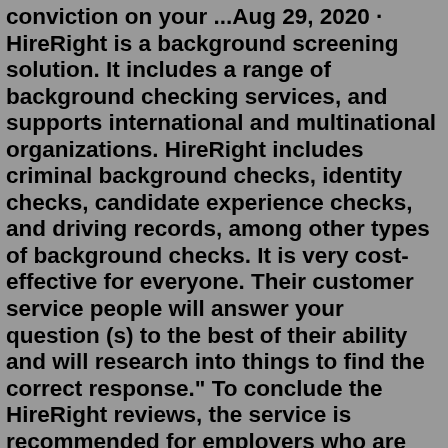conviction on your ...Aug 29, 2020 · HireRight is a background screening solution. It includes a range of background checking services, and supports international and multinational organizations. HireRight includes criminal background checks, identity checks, candidate experience checks, and driving records, among other types of background checks. It is very cost-effective for everyone. Their customer service people will answer your question (s) to the best of their ability and will research into things to find the correct response." To conclude the HireRight reviews, the service is recommended for employers who are hiring new employees. The results of the HireRight background check are ... HireRight Reviews 136 ... It took over 70 days to do a background check, but it is still not complete yet. Although, I provided my transcript and diploma, as well as provided my school's contact information over 10 times. Someone from Hire Right called me this morning requesting the same documentation. Finally, it clicks.Aug 29, 2020 · HireRight is a background